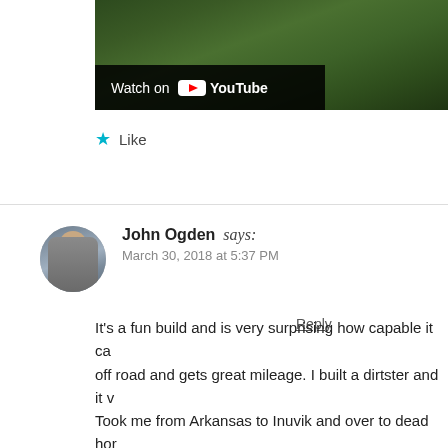[Figure (screenshot): YouTube video thumbnail showing grass/outdoor scene with 'Watch on YouTube' bar overlay]
Like
Reply
John Ogden says:
March 30, 2018 at 5:37 PM

It's a fun build and is very surprising how capable it ca... off road and gets great mileage. I built a dirtster and it v... Took me from Arkansas to Inuvik and over to dead hor... think it's a great build and now that Moto has come alo... mine is rtw mode